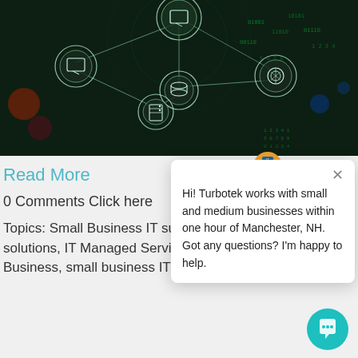[Figure (illustration): Dark background network/technology diagram showing interconnected nodes with icons including a monitor, database cylinder, server, and camera/lens, connected by lines suggesting a network infrastructure]
Read More
0 Comments Click here
Topics: Small Business IT support, small business solutions, IT Managed Services, Utilizing Technology in Business, small business IT infrastructure, IT Strategy
[Figure (screenshot): Chat widget popup with avatar icon, close X button, and message: Hi! Turbotek works with small and medium businesses within one hour of Manchester, NH. Got any questions? I'm happy to help.]
[Figure (illustration): Teal circular chat bubble button in bottom right corner]